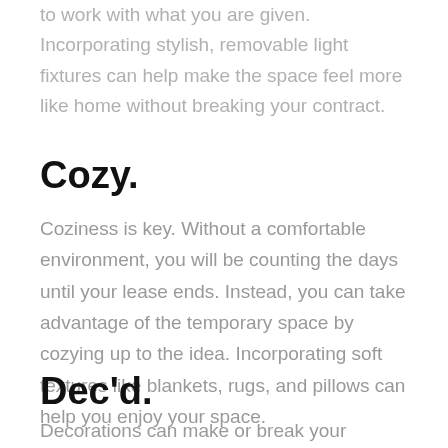to work with what you are given. Incorporating stylish, removable light fixtures can help make the space feel more like home without breaking your contract.
Cozy.
Coziness is key. Without a comfortable environment, you will be counting the days until your lease ends. Instead, you can take advantage of the temporary space by cozying up to the idea. Incorporating soft textures like blankets, rugs, and pillows can help you enjoy your space.
Dec'd.
Decorations can make or break your space's